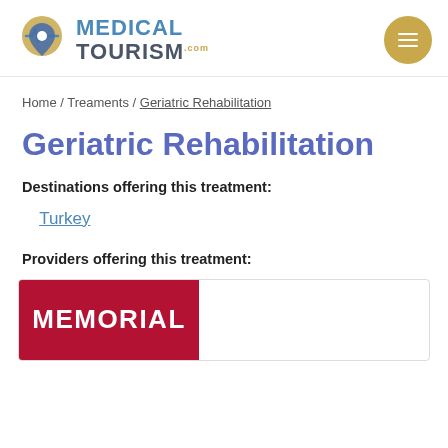Medical Tourism .com [logo with hamburger menu]
Home / Treaments / Geriatric Rehabilitation
Geriatric Rehabilitation
Destinations offering this treatment:
Turkey
Providers offering this treatment:
[Figure (logo): Memorial hospital logo — white text on dark red/crimson background reading MEMORIAL]